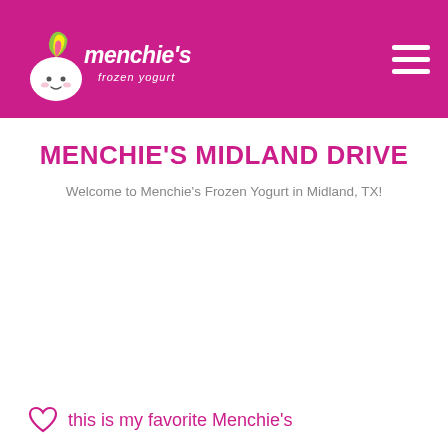Menchie's Frozen Yogurt — navigation header
MENCHIE'S MIDLAND DRIVE
Welcome to Menchie's Frozen Yogurt in Midland, TX!
this is my favorite Menchie's